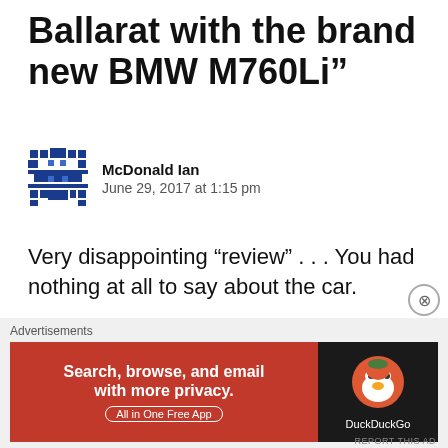Ballarat with the brand new BMW M760Li”
McDonald Ian
June 29, 2017 at 1:15 pm
Very disappointing “review” . . . You had nothing at all to say about the car.
★ Like
Reply
Advertisements
[Figure (other): DuckDuckGo advertisement banner: orange/red background with text 'Search, browse, and email with more privacy. All in One Free App' on the left, and DuckDuckGo logo on dark background on the right.]